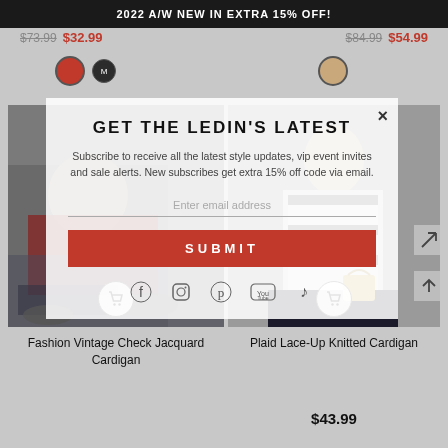2022 A/W NEW IN EXTRA 15% OFF!
$73.99  $32.99   $84.99  $54.99
[Figure (screenshot): E-commerce product listing page with two product cards showing fashion cardigans, a newsletter subscription popup overlay titled GET THE LEDIN'S LATEST, social media icons, and a SUBMIT button]
GET THE LEDIN'S LATEST
Subscribe to receive all the latest style updates, vip event invites and sale alerts. New subscribes get extra 15% off code via email.
SUBMIT
Fashion Vintage Check Jacquard Cardigan
Plaid Lace-Up Knitted Cardigan
$43.99